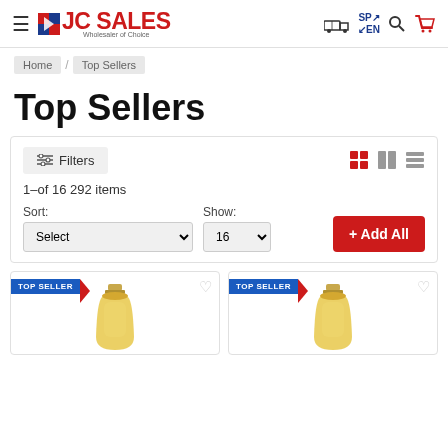JC SALES - Wholesaler of Choice
Home / Top Sellers
Top Sellers
Filters  1-of 16 292 items  Sort: Select  Show: 16  + Add All
[Figure (photo): Two product cards showing oil bottles with TOP SELLER badges and heart icons]